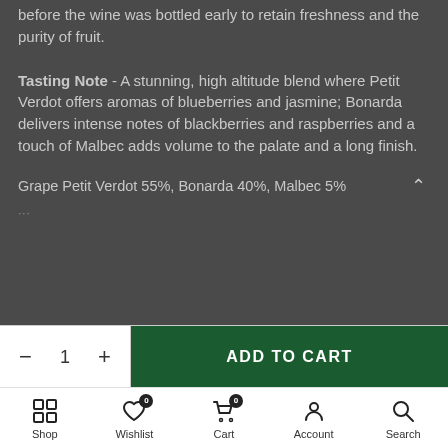before the wine was bottled early to retain freshness and the purity of fruit.
Tasting Note - A stunning, high altitude blend where Petit Verdot offers aromas of blueberries and jasmine; Bonarda delivers intense notes of blackberries and raspberries and a touch of Malbec adds volume to the palate and a long finish.
Grape Petit Verdot 55%, Bonarda 40%, Malbec 5%
ADD TO CART
Shop  Wishlist  Cart  Account  Search